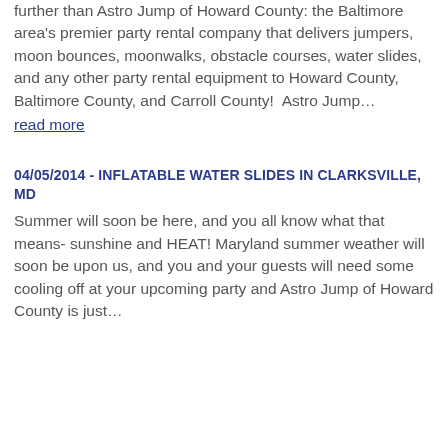further than Astro Jump of Howard County: the Baltimore area's premier party rental company that delivers jumpers, moon bounces, moonwalks, obstacle courses, water slides, and any other party rental equipment to Howard County, Baltimore County, and Carroll County!  Astro Jump… read more
04/05/2014 - INFLATABLE WATER SLIDES IN CLARKSVILLE, MD
Summer will soon be here, and you all know what that means- sunshine and HEAT! Maryland summer weather will soon be upon us, and you and your guests will need some cooling off at your upcoming party and Astro Jump of Howard County is just…